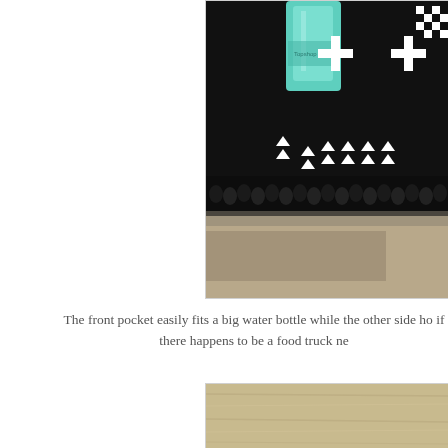[Figure (photo): Close-up photo of a black textile/rug with white cross and arrow patterns, showing textured fringe edge at the bottom, with a teal bottle partially visible in the upper background.]
The front pocket easily fits a big water bottle while the other side ho... if there happens to be a food truck ne...
[Figure (photo): Partial photo showing a light wood grain surface or table top.]